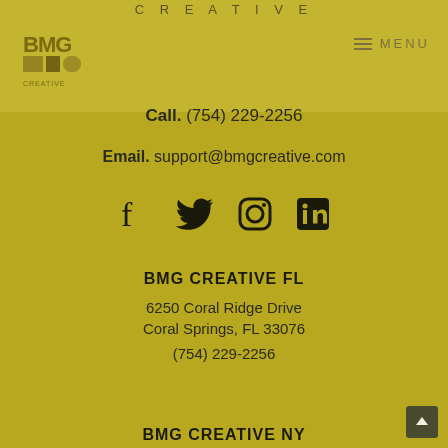CREATIVE
[Figure (logo): BMG Creative logo in golden tones]
MENU
Call. (754) 229-2256
Email. support@bmgcreative.com
[Figure (illustration): Social media icons: Facebook, Twitter, Instagram, LinkedIn]
BMG CREATIVE FL
6250 Coral Ridge Drive
Coral Springs, FL 33076
(754) 229-2256
BMG CREATIVE NY